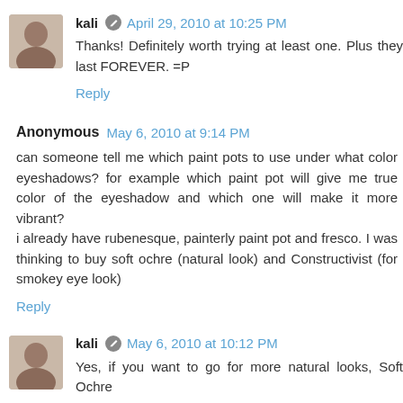kali — April 29, 2010 at 10:25 PM
Thanks! Definitely worth trying at least one. Plus they last FOREVER. =P
Reply
Anonymous — May 6, 2010 at 9:14 PM
can someone tell me which paint pots to use under what color eyeshadows? for example which paint pot will give me true color of the eyeshadow and which one will make it more vibrant?
i already have rubenesque, painterly paint pot and fresco. I was thinking to buy soft ochre (natural look) and Constructivist (for smokey eye look)
Reply
kali — May 6, 2010 at 10:12 PM
Yes, if you want to go for more natural looks, Soft Ochre